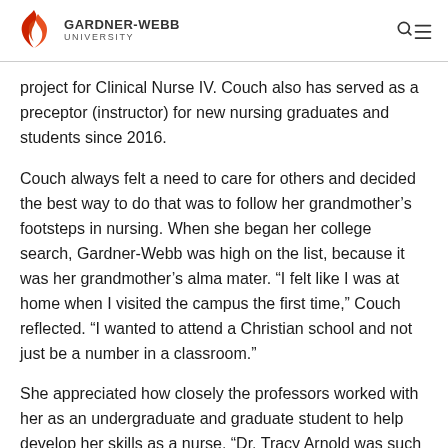GARDNER-WEBB UNIVERSITY
project for Clinical Nurse IV. Couch also has served as a preceptor (instructor) for new nursing graduates and students since 2016.
Couch always felt a need to care for others and decided the best way to do that was to follow her grandmother’s footsteps in nursing. When she began her college search, Gardner-Webb was high on the list, because it was her grandmother’s alma mater. “I felt like I was at home when I visited the campus the first time,” Couch reflected. “I wanted to attend a Christian school and not just be a number in a classroom.”
She appreciated how closely the professors worked with her as an undergraduate and graduate student to help develop her skills as a nurse. “Dr. Tracy Arnold was such a huge asset in helping me complete my thesis for my